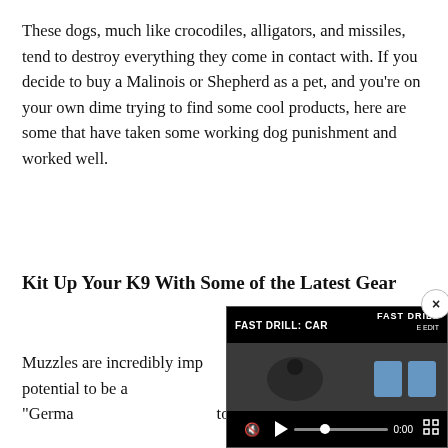These dogs, much like crocodiles, alligators, and missiles, tend to destroy everything they come in contact with. If you decide to buy a Malinois or Shepherd as a pet, and you're on your own dime trying to find some cool products, here are some that have taken some working dog punishment and worked well.
Kit Up Your K9 With Some of the Latest Gear
Muzzles are incredibly imp... have the potential to be a ... man once told me, "Germa... to bite, Belgian Malinois a...
[Figure (screenshot): Video overlay player showing 'FAST DRILL: CAR...' title with controls including mute button, progress bar showing 0:00, fullscreen icon, and close button. Two blue target shapes visible on right side of video frame.]